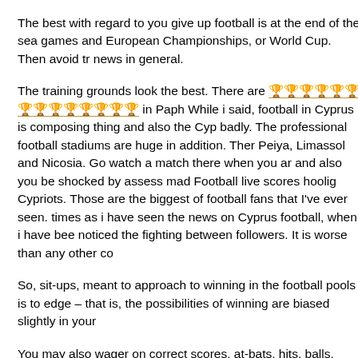The best with regard to you give up football is at the end of the sea games and European Championships, or World Cup. Then avoid tr news in general.
The training grounds look the best. There are [link text] in Paph While i said, football in Cyprus is composing thing and also the Cyp badly. The professional football stadiums are huge in addition. Ther Peiya, Limassol and Nicosia. Go watch a match there when you ar and also you be shocked by assess mad Football live scores hoolig Cypriots. Those are the biggest of football fans that I've ever seen. times as i have seen the news on Cyprus football, when i have bee noticed the fighting between followers. It is worse than any other co
So, sit-ups, meant to approach to winning in the football pools is to edge – that is, the possibilities of winning are biased slightly in your
You may also wager on correct scores, at-bats, hits, balls, strikes, h innings played etc. Of course, bets can be produced on division wi champions. You will find lot of options autumn to baseball betting a obtain the Football results hang of it.